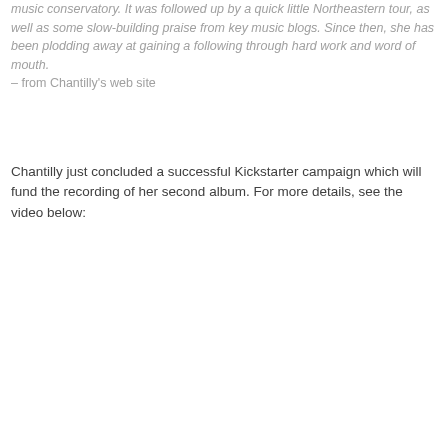music conservatory. It was followed up by a quick little Northeastern tour, as well as some slow-building praise from key music blogs. Since then, she has been plodding away at gaining a following through hard work and word of mouth. – from Chantilly's web site
Chantilly just concluded a successful Kickstarter campaign which will fund the recording of her second album. For more details, see the video below: